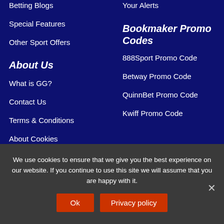Betting Blogs
Your Alerts
Special Features
Other Sport Offers
About Us
What is GG?
Contact Us
Terms & Conditions
About Cookies
Privacy Policy
Bookmaker Promo Codes
888Sport Promo Code
Betway Promo Code
QuinnBet Promo Code
Kwiff Promo Code
We use cookies to ensure that we give you the best experience on our website. If you continue to use this site we will assume that you are happy with it.